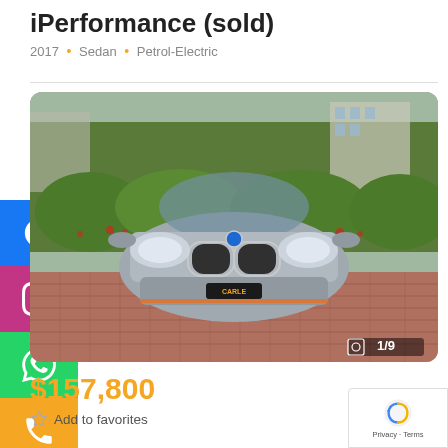iPerformance (sold)
2017 • Sedan • Petrol-Electric
[Figure (photo): Front view of a BMW 5 Series iPerformance sedan in silver/grey, parked on a brick driveway with green hedges and trees in the background. Image counter shows 1/9. CARLE by Haus dealership logo visible on front bumper.]
$157,800
Add to favorites